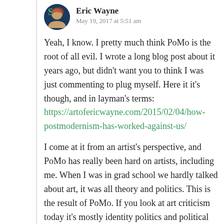[Figure (photo): Circular avatar photo of Eric Wayne, a man with reddish hair, styled with a blue/teal decorative border]
Eric Wayne
May 19, 2017 at 5:51 am
Yeah, I know. I pretty much think PoMo is the root of all evil. I wrote a long blog post about it years ago, but didn’t want you to think I was just commenting to plug myself. Here it it’s though, and in layman’s terms: https://artofericwayne.com/2015/02/04/how-postmodernism-has-worked-against-us/
I come at it from an artist’s perspective, and PoMo has really been hard on artists, including me. When I was in grad school we hardly talked about art, it was all theory and politics. This is the result of PoMo. If you look at art criticism today it’s mostly identity politics and political correctness, both of which stem from PoMo and